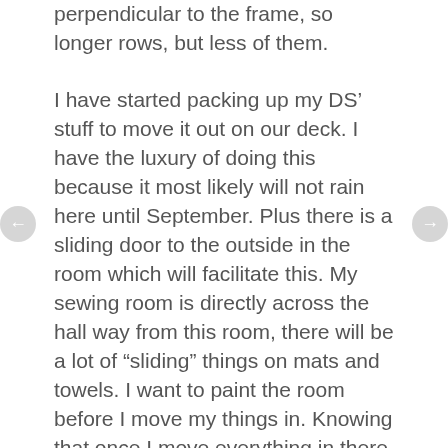perpendicular to the frame, so longer rows, but less of them.
I have started packing up my DS' stuff to move it out on our deck. I have the luxury of doing this because it most likely will not rain here until September. Plus there is a sliding door to the outside in the room which will facilitate this. My sewing room is directly across the hall way from this room, there will be a lot of “sliding” things on mats and towels. I want to paint the room before I move my things in. Knowing that once I move everything in there, it won’t happen. I have a gallon or two of the white I used in living area of my house, so that should be enough to start. The ceiling needs to be done as well, yuck, bought the paint for that, maybe I’ll start cutting